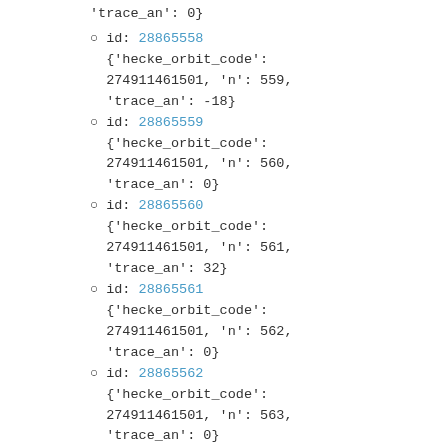'trace_an': 0}
id: 28865558 {'hecke_orbit_code': 274911461501, 'n': 559, 'trace_an': -18}
id: 28865559 {'hecke_orbit_code': 274911461501, 'n': 560, 'trace_an': 0}
id: 28865560 {'hecke_orbit_code': 274911461501, 'n': 561, 'trace_an': 32}
id: 28865561 {'hecke_orbit_code': 274911461501, 'n': 562, 'trace_an': 0}
id: 28865562 {'hecke_orbit_code': 274911461501, 'n': 563,